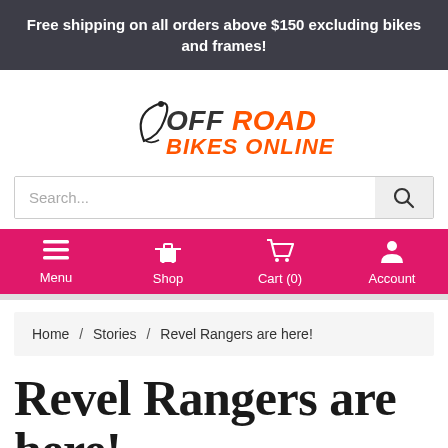Free shipping on all orders above $150 excluding bikes and frames!
[Figure (logo): Off Road Bikes Online logo with stylized text and decorative swirl]
Search...
Menu  Shop  Cart (0)  Account
Home / Stories / Revel Rangers are here!
Revel Rangers are here!